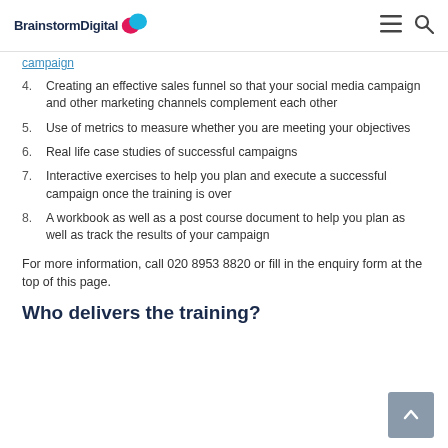BrainstormDigital [logo]
4. Creating an effective sales funnel so that your social media campaign and other marketing channels complement each other
5. Use of metrics to measure whether you are meeting your objectives
6. Real life case studies of successful campaigns
7. Interactive exercises to help you plan and execute a successful campaign once the training is over
8. A workbook as well as a post course document to help you plan as well as track the results of your campaign
For more information, call 020 8953 8820 or fill in the enquiry form at the top of this page.
Who delivers the training?